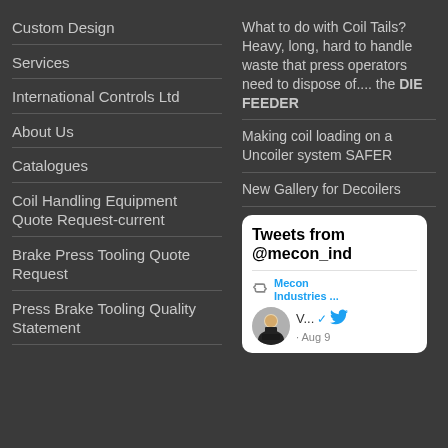Custom Design
Services
International Controls Ltd
About Us
Catalogues
Coil Handling Equipment Quote Request-current
Brake Press Tooling Quote Request
Press Brake Tooling Quality Statement
What to do with Coil Tails? Heavy, long, hard to handle waste that press operators need to dispose of.... the DIE FEEDER
Making coil loading on a Uncoiler system SAFER
New Gallery for Decoilers
[Figure (screenshot): Twitter/X widget showing 'Tweets from @mecon_ind' with a retweet from Mecon Industries and a profile image with verified badge, dated Aug 9]